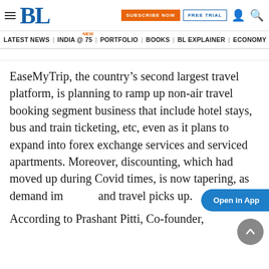BL | SUBSCRIBE NOW | FREE TRIAL
LATEST NEWS | INDIA @ 75 NEW | PORTFOLIO | BOOKS | BL EXPLAINER | ECONOMY | AGR
EaseMyTrip, the country’s second largest travel platform, is planning to ramp up non-air travel booking segment business that include hotel stays, bus and train ticketing, etc, even as it plans to expand into forex exchange services and serviced apartments. Moreover, discounting, which had moved up during Covid times, is now tapering, as demand im and travel picks up.
According to Prashant Pitti, Co-founder,